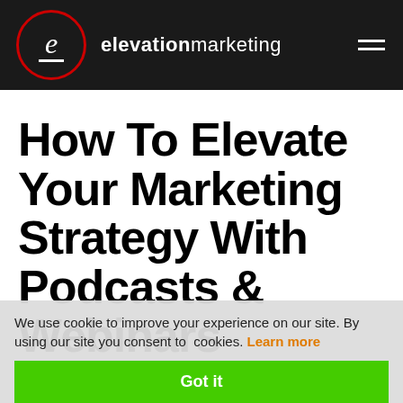[Figure (logo): Elevation Marketing logo: red circle with italic 'e' and underline, followed by brand name 'elevationmarketing' in white on dark background, hamburger menu icon top right]
How To Elevate Your Marketing Strategy With Podcasts & Webinars
We use cookie to improve your experience on our site. By using our site you consent to cookies. Learn more
Got it
Podcasts and webinars can take your B2B business to the